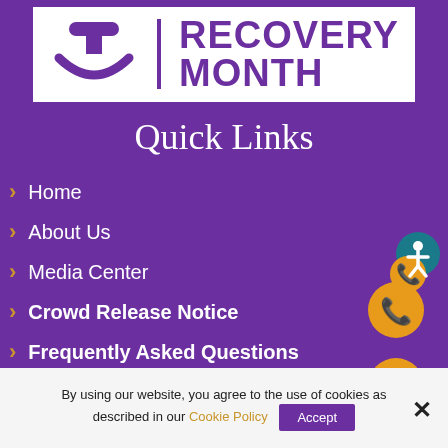[Figure (logo): Recovery Month logo: purple smile/person icon with vertical bar and bold text 'RECOVERY MONTH' in purple on white background]
Quick Links
Home
About Us
Media Center
Crowd Release Notice
Frequently Asked Questions
Event Location
By using our website, you agree to the use of cookies as described in our Cookie Policy
Accept